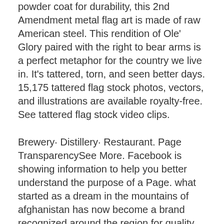powder coat for durability, this 2nd Amendment metal flag art is made of raw American steel. This rendition of Ole' Glory paired with the right to bear arms is a perfect metaphor for the country we live in. It's tattered, torn, and seen better days. 15,175 tattered flag stock photos, vectors, and illustrations are available royalty-free. See tattered flag stock video clips.
Brewery· Distillery· Restaurant. Page TransparencySee More. Facebook is showing information to help you better understand the purpose of a Page. what started as a dream in the mountains of afghanistan has now become a brand recognized around the region for quality and innovation. we specialize in hand-crafted, house made, award winning beer and … The Tattered